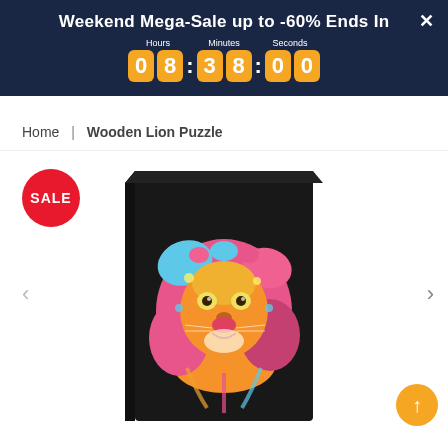Weekend Mega-Sale up to -60% Ends In | 08:38:00
Home | Wooden Lion Puzzle
[Figure (photo): Product image of a wooden lion puzzle box showing a colorful decorative lion face on a black background, with a red SALE badge overlay in the top left.]